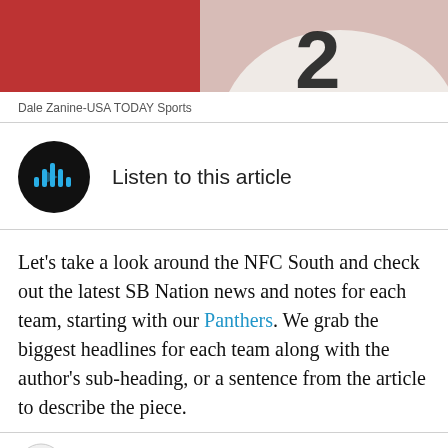[Figure (photo): Cropped photo of a football player in a white jersey with a large number visible, reddish/blurred background]
Dale Zanine-USA TODAY Sports
[Figure (other): Listen to this article audio player button with dark circular icon showing audio waveform bars]
Let's take a look around the NFC South and check out the latest SB Nation news and notes for each team, starting with our Panthers. We grab the biggest headlines for each team along with the author's sub-heading, or a sentence from the article to describe the piece.
[Figure (logo): SB Nation bird logo in bottom left, Twitter and Facebook social icons in bottom right]